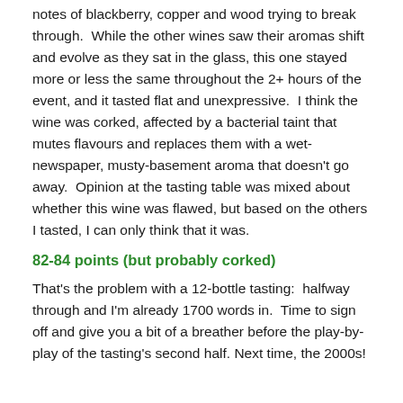notes of blackberry, copper and wood trying to break through.  While the other wines saw their aromas shift and evolve as they sat in the glass, this one stayed more or less the same throughout the 2+ hours of the event, and it tasted flat and unexpressive.  I think the wine was corked, affected by a bacterial taint that mutes flavours and replaces them with a wet-newspaper, musty-basement aroma that doesn't go away.  Opinion at the tasting table was mixed about whether this wine was flawed, but based on the others I tasted, I can only think that it was.
82-84 points (but probably corked)
That's the problem with a 12-bottle tasting:  halfway through and I'm already 1700 words in.  Time to sign off and give you a bit of a breather before the play-by-play of the tasting's second half. Next time, the 2000s!